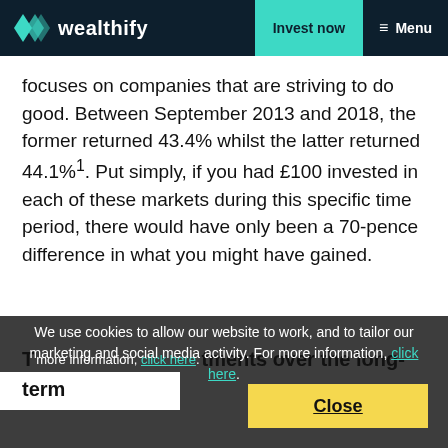wealthify | Invest now | Menu
focuses on companies that are striving to do good. Between September 2013 and 2018, the former returned 43.4% whilst the latter returned 44.1%¹. Put simply, if you had £100 invested in each of these markets during this specific time period, there would have only been a 70-pence difference in what you might have gained.
We use cookies to allow our website to work, and to tailor our marketing and social media activity. For more information, click here.
Think about your investments over the long-term
If you want to make the most of your £1,000 investment, it's important to think long-term